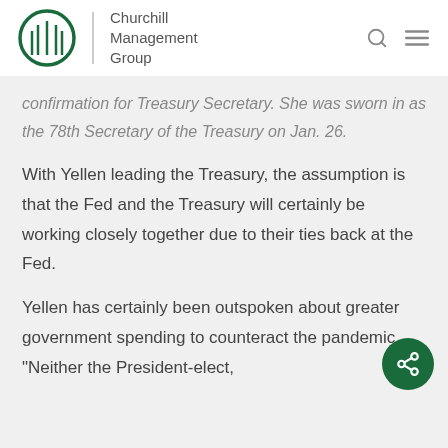Churchill Management Group
confirmation for Treasury Secretary. She was sworn in as the 78th Secretary of the Treasury on Jan. 26.
With Yellen leading the Treasury, the assumption is that the Fed and the Treasury will certainly be working closely together due to their ties back at the Fed.
Yellen has certainly been outspoken about greater government spending to counteract the pandemic. “Neither the President-elect,